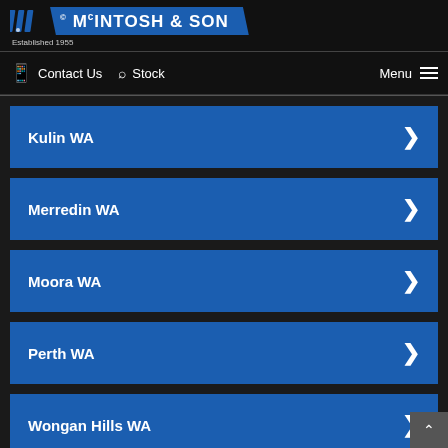McIntosh & Son — Established 1955
Contact Us  Stock  Menu
Kulin WA
Merredin WA
Moora WA
Perth WA
Wongan Hills WA